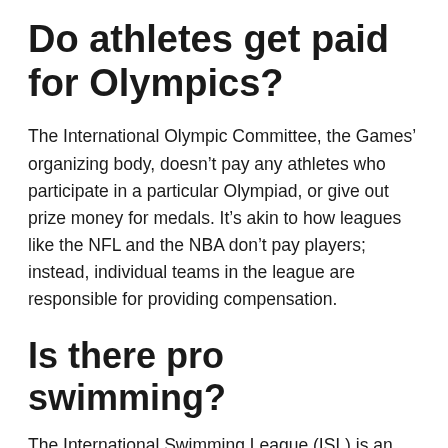Do athletes get paid for Olympics?
The International Olympic Committee, the Games’ organizing body, doesn’t pay any athletes who participate in a particular Olympiad, or give out prize money for medals. It’s akin to how leagues like the NFL and the NBA don’t pay players; instead, individual teams in the league are responsible for providing compensation.
Is there pro swimming?
The International Swimming League (ISL) is an annual professional swimming league, established in 2019. It features a team-based competition format with fast-paced race